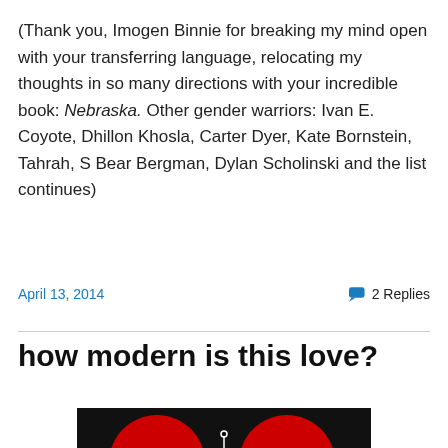(Thank you, Imogen Binnie for breaking my mind open with your transferring language, relocating my thoughts in so many directions with your incredible book: Nebraska. Other gender warriors: Ivan E. Coyote, Dhillon Khosla, Carter Dyer, Kate Bornstein, Tahrah, S Bear Bergman, Dylan Scholinski and the list continues)
April 13, 2014
2 Replies
how modern is this love?
[Figure (illustration): Black background with two red heart/circle shapes and a small white key icon between them at the bottom of the image]